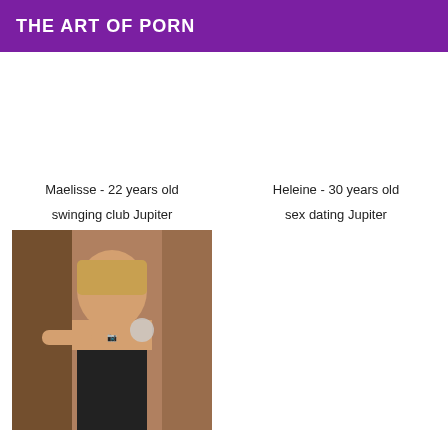THE ART OF PORN
Maelisse - 22 years old
swinging club Jupiter
[Figure (photo): Woman taking a mirror selfie wearing a black bra]
Heleine - 30 years old
sex dating Jupiter